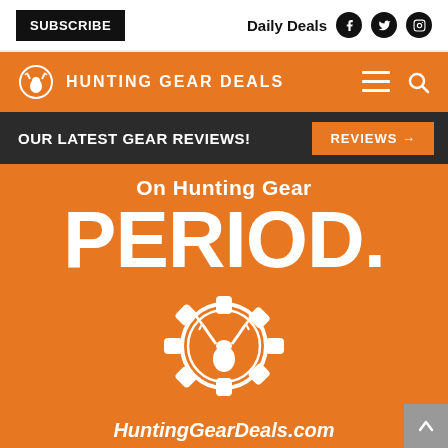SUBSCRIBE | Daily Deals
HUNTING GEAR DEALS
OUR LATEST GEAR REVIEWS!
REVIEWS →
[Figure (illustration): Orange promotional banner for HuntingGearDeals.com showing the text 'On Hunting Gear PERIOD.' in large white bold text above a deer/gear cog logo and the website name HuntingGearDeals.com]